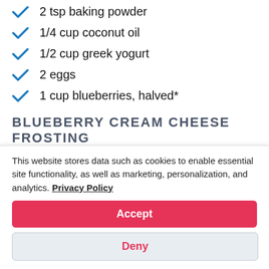2 tsp baking powder
1/4 cup coconut oil
1/2 cup greek yogurt
2 eggs
1 cup blueberries, halved*
BLUEBERRY CREAM CHEESE FROSTING
This website stores data such as cookies to enable essential site functionality, as well as marketing, personalization, and analytics. Privacy Policy
Accept
Deny